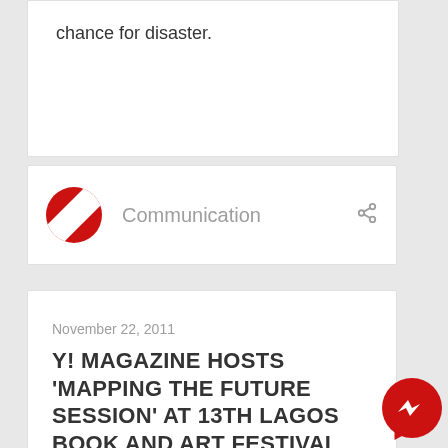chance for disaster.
Communication
November 22, 2011
Y! MAGAZINE HOSTS 'MAPPING THE FUTURE SESSION' AT 13TH LAGOS BOOK AND ART FESTIVAL
On November 19 2011,